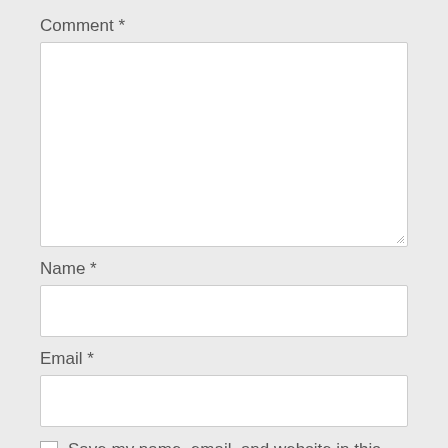Comment *
[Figure (screenshot): Large white textarea input box for comment entry with resize handle at bottom right]
Name *
[Figure (screenshot): Single-line white text input box for name entry]
Email *
[Figure (screenshot): Single-line white text input box for email entry]
Save my name, email, and website in this